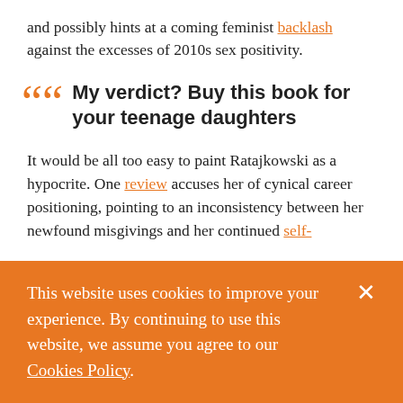and possibly hints at a coming feminist backlash against the excesses of 2010s sex positivity.
My verdict? Buy this book for your teenage daughters
It would be all too easy to paint Ratajkowski as a hypocrite. One review accuses her of cynical career positioning, pointing to an inconsistency between her newfound misgivings and her continued self-
This website uses cookies to improve your experience. By continuing to use this website, we assume you agree to our Cookies Policy.